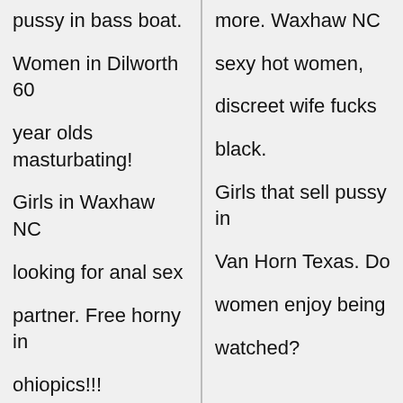pussy in bass boat.
Women in Dilworth 60
year olds masturbating!
Girls in Waxhaw NC
looking for anal sex
partner. Free horny in
ohiopics!!!
more. Waxhaw NC
sexy hot women,
discreet wife fucks
black.
Girls that sell pussy in
Van Horn Texas. Do
women enjoy being
watched?